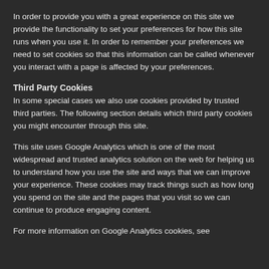In order to provide you with a great experience on this site we provide the functionality to set your preferences for how this site runs when you use it. In order to remember your preferences we need to set cookies so that this information can be called whenever you interact with a page is affected by your preferences.
Third Party Cookies
In some special cases we also use cookies provided by trusted third parties. The following section details which third party cookies you might encounter through this site.
This site uses Google Analytics which is one of the most widespread and trusted analytics solution on the web for helping us to understand how you use the site and ways that we can improve your experience. These cookies may track things such as how long you spend on the site and the pages that you visit so we can continue to produce engaging content.
For more information on Google Analytics cookies, see